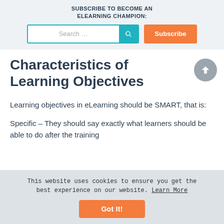SUBSCRIBE TO BECOME AN ELEARNING CHAMPION:
Characteristics of Learning Objectives
Learning objectives in eLearning should be SMART, that is:
Specific – They should say exactly what learners should be able to do after the training
This website uses cookies to ensure you get the best experience on our website. Learn More
Got It!